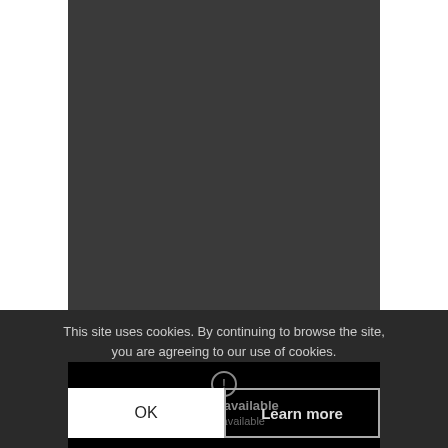[Figure (screenshot): Dark gray video player area (video unavailable) with white side panels on left and right]
This site uses cookies. By continuing to browse the site, you are agreeing to our use of cookies.
[Figure (screenshot): Video unavailable message with circle warning icon and 'eo is unavailable' text on black background]
OK
Learn more